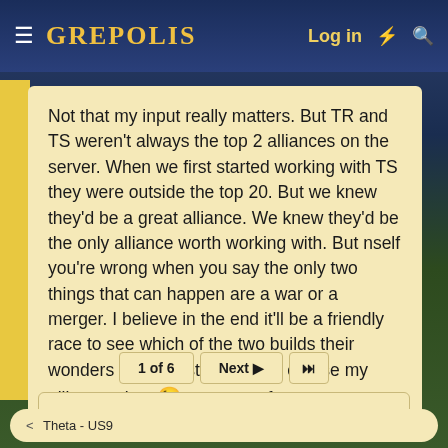GREPOLIS  Log in
Not that my input really matters. But TR and TS weren't always the top 2 alliances on the server. When we first started working with TS they were outside the top 20. But we knew they'd be a great alliance. We knew they'd be the only alliance worth working with. But nself you're wrong when you say the only two things that can happen are a war or a merger. I believe in the end it'll be a friendly race to see which of the two builds their wonders the fastest. Unless of course my alliance wins. 😉 sarcasm of course.
1 of 6  Next ▶  ▶▶
You must log in or register to reply here.
< Theta - US9